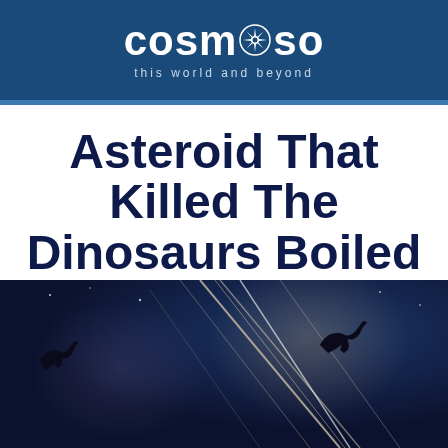cosmoso — this world and beyond
Asteroid That Killed The Dinosaurs Boiled Earth's Atmosphere
February 1, 2015
[Figure (illustration): Artistic illustration showing a dramatic night sky with streaks of light (asteroid impact trails), silhouettes of flying pterosaurs/dinosaurs against a dark blue and purple atmospheric backdrop]